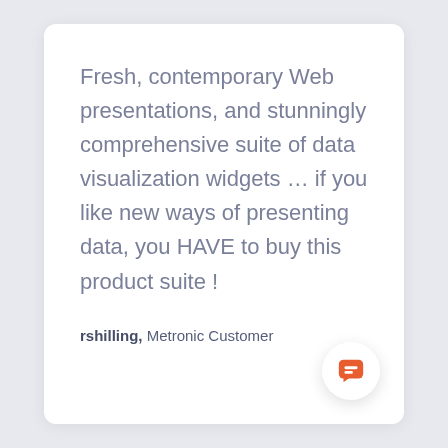Fresh, contemporary Web presentations, and stunningly comprehensive suite of data visualization widgets … if you like new ways of presenting data, you HAVE to buy this product suite !
rshilling, Metronic Customer
[Figure (illustration): Orange speech bubble / chat icon in a white circular button, positioned at bottom right of the card.]